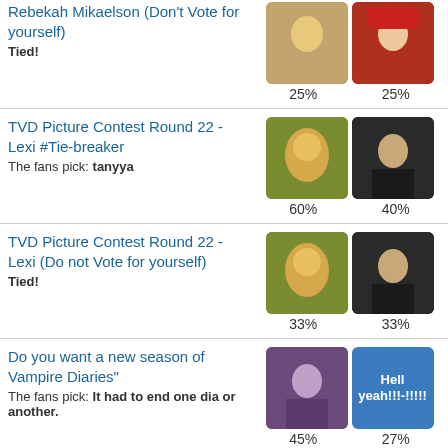Rebekah Mikaelson (Don't Vote for yourself) Tied! 25% 25%
TVD Picture Contest Round 22 - Lexi #Tie-breaker. The fans pick: tanyya. 60% 40%
TVD Picture Contest Round 22 - Lexi (Do not Vote for yourself) Tied! 33% 33%
Do you want a new season of Vampire Diaries" The fans pick: It had to end one dia or another. 45% 27%
TV Show TVD Picture Contest Round 21 - Niklaus Mikaelson #Tie-breaker. The fans pick: tanyya. 83% 17%